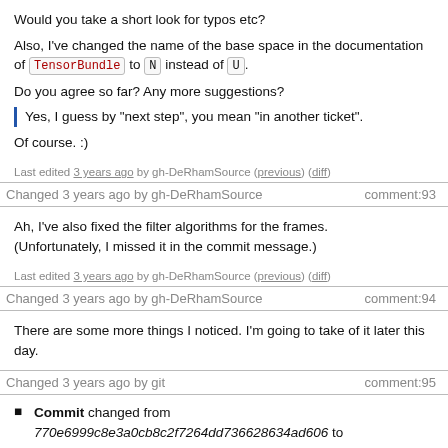Would you take a short look for typos etc?
Also, I've changed the name of the base space in the documentation of TensorBundle to N instead of U.
Do you agree so far? Any more suggestions?
Yes, I guess by "next step", you mean "in another ticket".
Of course. :)
Last edited 3 years ago by gh-DeRhamSource (previous) (diff)
Changed 3 years ago by gh-DeRhamSource   comment:93
Ah, I've also fixed the filter algorithms for the frames. (Unfortunately, I missed it in the commit message.)
Last edited 3 years ago by gh-DeRhamSource (previous) (diff)
Changed 3 years ago by gh-DeRhamSource   comment:94
There are some more things I noticed. I'm going to take of it later this day.
Changed 3 years ago by git   comment:95
Commit changed from 770e6999c8e3a0cb8c2f7264dd736628634ad606 to 22e6666e641777f26eb165ba4623f6c28fa8e70b
Branch pushed to git repo; I updated commit sha1. New